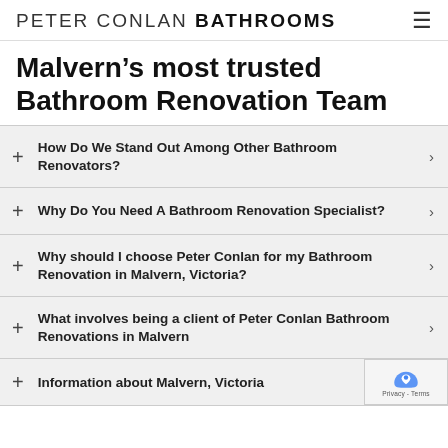PETER CONLAN BATHROOMS
Malvern's most trusted Bathroom Renovation Team
How Do We Stand Out Among Other Bathroom Renovators?
Why Do You Need A Bathroom Renovation Specialist?
Why should I choose Peter Conlan for my Bathroom Renovation in Malvern, Victoria?
What involves being a client of Peter Conlan Bathroom Renovations in Malvern
Information about Malvern, Victoria